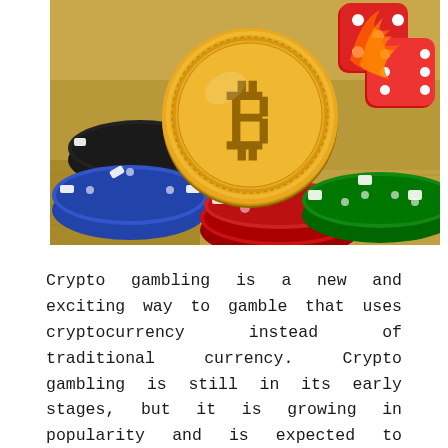[Figure (photo): A photo of a gold Bitcoin coin surrounded by casino poker chips (blue, white, black, red, green) and red dice on top of dollar bills, symbolizing crypto gambling.]
Crypto gambling is a new and exciting way to gamble that uses cryptocurrency instead of traditional currency. Crypto gambling is still in its early stages, but it is growing in popularity and is expected to become more mainstream in the future. There are many benefits to crypto